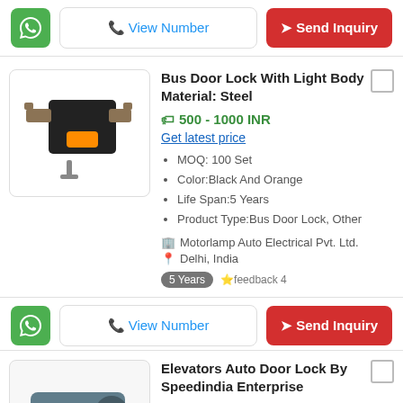[Figure (screenshot): Top action bar with WhatsApp button, View Number button, and Send Inquiry button]
[Figure (photo): Bus Door Lock with Light product image showing lock components]
Bus Door Lock With Light Body Material: Steel
500 - 1000 INR
Get latest price
MOQ: 100 Set
Color:Black And Orange
Life Span:5 Years
Product Type:Bus Door Lock, Other
Motorlamp Auto Electrical Pvt. Ltd.
Delhi, India
5 Years  feedback 4
[Figure (screenshot): Action bar with WhatsApp button, View Number button, and Send Inquiry button]
[Figure (photo): Elevators Auto Door Lock product image]
Elevators Auto Door Lock By Speedindia Enterprise
10 - 5.0 lakh INR